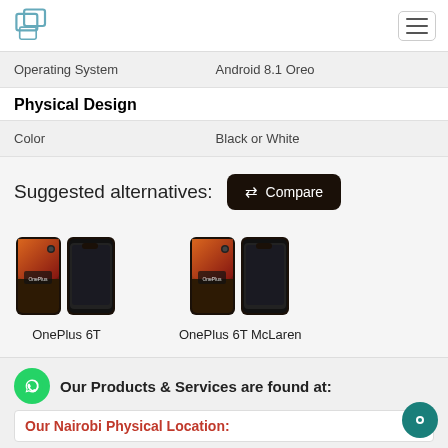Logo and navigation
| Operating System | Android 8.1 Oreo |
| Physical Design |  |
| Color | Black or White |
Suggested alternatives:  ⇄ Compare
[Figure (photo): Product image of OnePlus 6T smartphone showing front and back views]
OnePlus 6T
[Figure (photo): Product image of OnePlus 6T McLaren smartphone showing front and back views]
OnePlus 6T McLaren
Our Products & Services are found at:
Our Nairobi Physical Location: